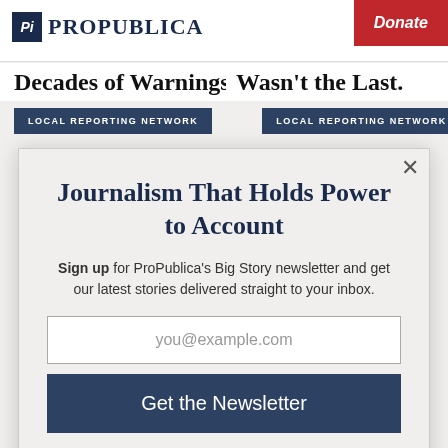ProPublica | Donate
Decades of warnings | Wasn't the Last.
LOCAL REPORTING NETWORK | LOCAL REPORTING NETWORK
Journalism That Holds Power to Account
Sign up for ProPublica's Big Story newsletter and get our latest stories delivered straight to your inbox.
you@example.com
Get the Newsletter
No thanks, I'm all set
This site is protected by reCAPTCHA and the Google Privacy Policy and Terms of Service apply.